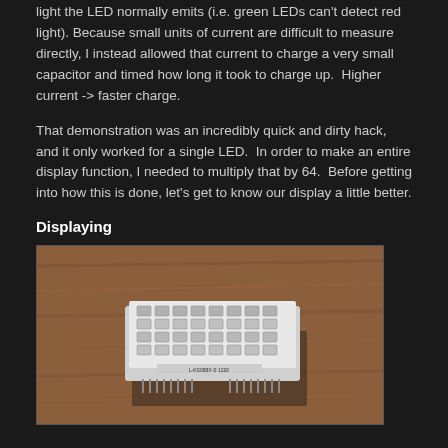light the LED normally emits (i.e. green LEDs can't detect red light). Because small units of current are difficult to measure directly, I instead allowed that current to charge a very small capacitor and timed how long it took to charge up.  Higher current -> faster charge.
That demonstration was an incredibly quick and dirty hack, and it only worked for a single LED.  In order to make an entire display function, I needed to multiply that by 64.  Before getting into how this is done, let's get to know our display a little better.
Displaying
[Figure (photo): Photo of an 8x8 LED matrix display module sitting on a wooden surface. The module is white/silver colored with an 8x8 grid of LED elements visible on top and pins visible on the bottom.]